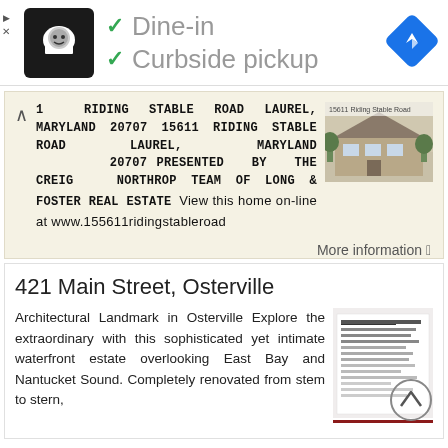[Figure (screenshot): Advertisement banner with chef logo, dine-in and curbside pickup checkmarks, and navigation icon]
1 RIDING STABLE ROAD LAUREL, MARYLAND 20707 15611 RIDING STABLE ROAD LAUREL, MARYLAND 20707 PRESENTED BY THE CREIG NORTHROP TEAM OF LONG & FOSTER REAL ESTATE View this home on-line at www.155611ridingstableroad
[Figure (photo): Thumbnail photo of a house at 15611 Riding Stable Road]
More information →
421 Main Street, Osterville
Architectural Landmark in Osterville Explore the extraordinary with this sophisticated yet intimate waterfront estate overlooking East Bay and Nantucket Sound. Completely renovated from stem to stern,
[Figure (screenshot): Thumbnail document/listing image for 421 Main Street Osterville with a red horizontal line below it]